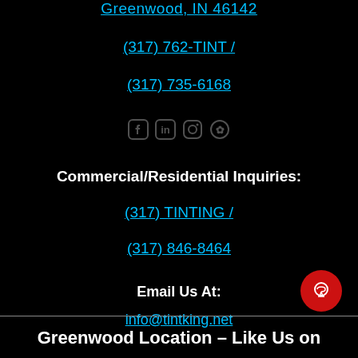Greenwood, IN 46142
(317) 762-TINT / (317) 735-6168
[Figure (illustration): Social media icons: Facebook, LinkedIn, Instagram, Yelp]
Commercial/Residential Inquiries:
(317) TINTING / (317) 846-8464
Email Us At:
info@tintking.net
[Figure (illustration): Red circular chat/headset support button in bottom right corner]
Greenwood Location – Like Us on